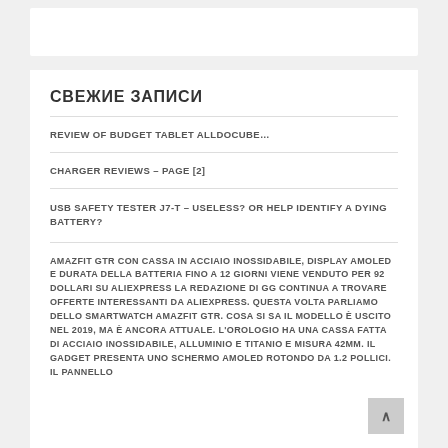СВЕЖИЕ ЗАПИСИ
REVIEW OF BUDGET TABLET ALLDOCUBE…
CHARGER REVIEWS – PAGE [2]
USB SAFETY TESTER J7-T – USELESS? OR HELP IDENTIFY A DYING BATTERY?
AMAZFIT GTR CON CASSA IN ACCIAIO INOSSIDABILE, DISPLAY AMOLED E DURATA DELLA BATTERIA FINO A 12 GIORNI VIENE VENDUTO PER 92 DOLLARI SU ALIEXPRESS LA REDAZIONE DI GG CONTINUA A TROVARE OFFERTE INTERESSANTI DA ALIEXPRESS. QUESTA VOLTA PARLIAMO DELLO SMARTWATCH AMAZFIT GTR. COSA SI SA IL MODELLO È USCITO NEL 2019, MA È ANCORA ATTUALE. L'OROLOGIO HA UNA CASSA FATTA DI ACCIAIO INOSSIDABILE, ALLUMINIO E TITANIO E MISURA 42MM. IL GADGET PRESENTA UNO SCHERMO AMOLED ROTONDO DA 1.2 POLLICI. IL PANNELLO